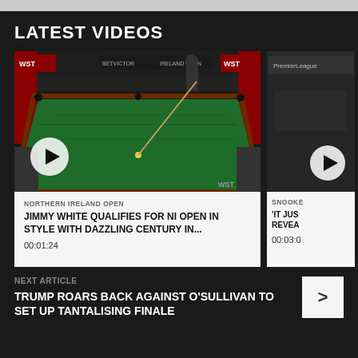LATEST VIDEOS
[Figure (photo): Snooker player at a green snooker table at the Northern Ireland Open, branded with WST and BetVictor logos. Play button visible bottom left.]
NORTHERN IRELAND OPEN
JIMMY WHITE QUALIFIES FOR NI OPEN IN STYLE WITH DAZZLING CENTURY IN...
00:01:24
[Figure (photo): Partially visible second video card with snooker content and play button.]
SNOOKER
'IT JUST REVEA...
00:03:0...
NEXT ARTICLE
TRUMP ROARS BACK AGAINST O'SULLIVAN TO SET UP TANTALISING FINALE